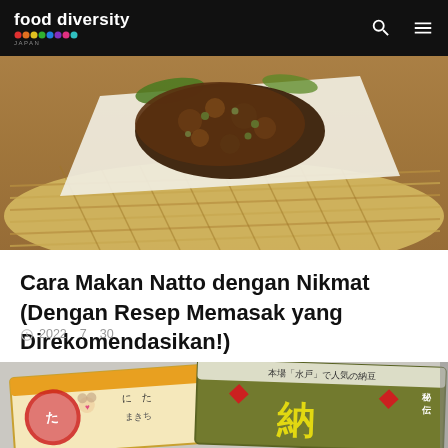food diversity japan
[Figure (photo): Crispy fried natto food (possibly natto fritters) served on white paper on a woven bamboo basket tray on a wooden table. The food appears brown and crispy with green herb garnishes.]
Cara Makan Natto dengan Nikmat (Dengan Resep Memasak yang Direkomendasikan!)
2022 7 30
[Figure (photo): Two packages of Japanese natto (fermented soybeans). Left package is yellowish/white with Japanese characters and a cartoon mouse character. Right package is olive/green colored with Japanese text 本場「水戸」で人気の納豆 and large stylized Japanese characters in yellow, with red diamond decorations.]